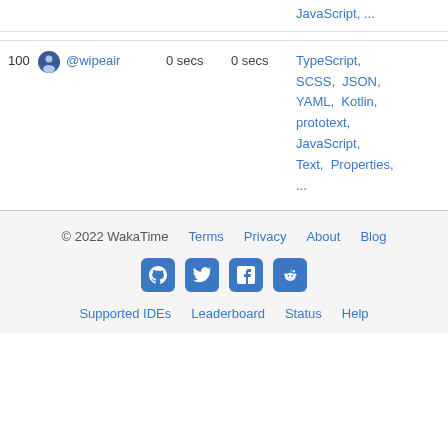JavaScript, ...
| rank | user | time1 | time2 | languages |
| --- | --- | --- | --- | --- |
| 100 | @wipeair | 0 secs | 0 secs | TypeScript, SCSS, JSON, YAML, Kotlin, prototext, JavaScript, Text, Properties, ... |
© 2022 WakaTime  Terms  Privacy  About  Blog  Supported IDEs  Leaderboard  Status  Help